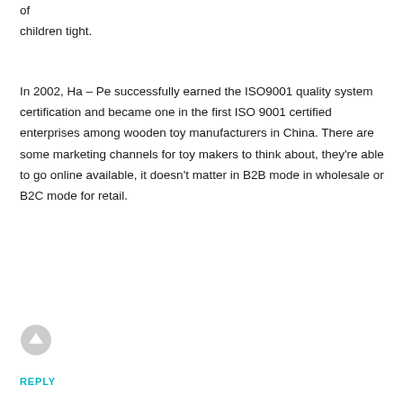of children tight.
In 2002, Ha – Pe successfully earned the ISO9001 quality system certification and became one in the first ISO 9001 certified enterprises among wooden toy manufacturers in China. There are some marketing channels for toy makers to think about, they're able to go online available, it doesn't matter in B2B mode in wholesale or B2C mode for retail.
REPLY